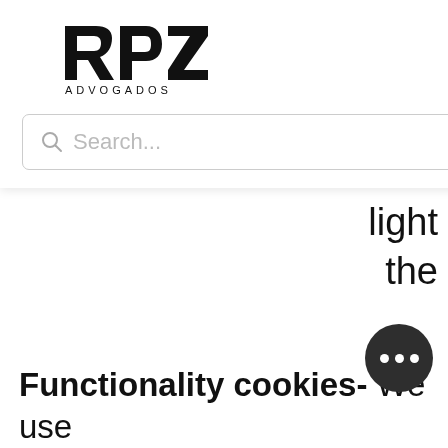[Figure (logo): RPZ Advogados logo with hamburger menu icon]
Search...
some error use also light the website that we think may be of interest to users. These cookies are used only for the purposes of statistical creation and analysis, without ever collecting personal information.
Functionality cookies- We use